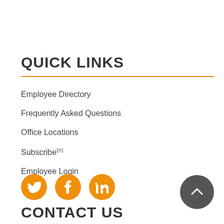QUICK LINKS
Employee Directory
Frequently Asked Questions
Office Locations
Subscribe(n)
Employee Login
[Figure (infographic): Three orange circular social media icons: Twitter, Facebook, LinkedIn]
[Figure (other): Dark grey circular back-to-top button with upward chevron arrow]
CONTACT US